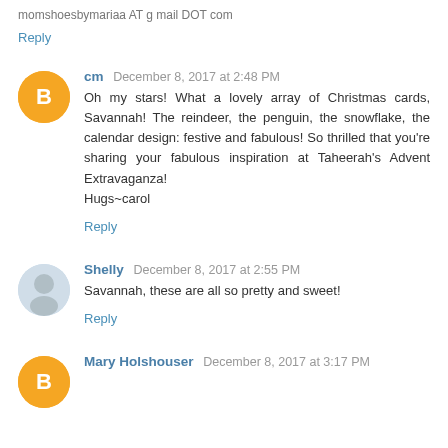momshoesbymariaa AT g mail DOT com
Reply
cm   December 8, 2017 at 2:48 PM
Oh my stars! What a lovely array of Christmas cards, Savannah! The reindeer, the penguin, the snowflake, the calendar design: festive and fabulous! So thrilled that you're sharing your fabulous inspiration at Taheerah's Advent Extravaganza!
Hugs~carol
Reply
Shelly   December 8, 2017 at 2:55 PM
Savannah, these are all so pretty and sweet!
Reply
Mary Holshouser   December 8, 2017 at 3:17 PM